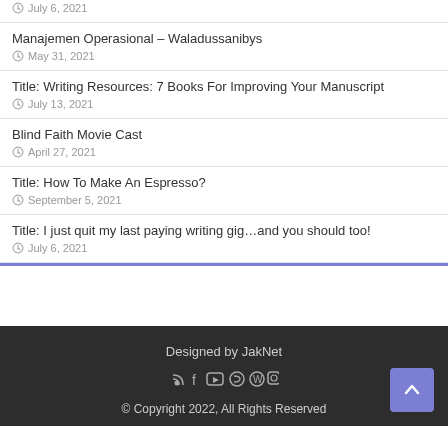July 6, 2021
Manajemen Operasional – Waladussanibys
May 31, 2021
Title: Writing Resources: 7 Books For Improving Your Manuscript
July 13, 2021
Blind Faith Movie Cast
April 27, 2021
Title: How To Make An Espresso?
September 5, 2021
Title: I just quit my last paying writing gig…and you should too!
July 6, 2021
Designed by JakNet
© Copyright 2022, All Rights Reserved